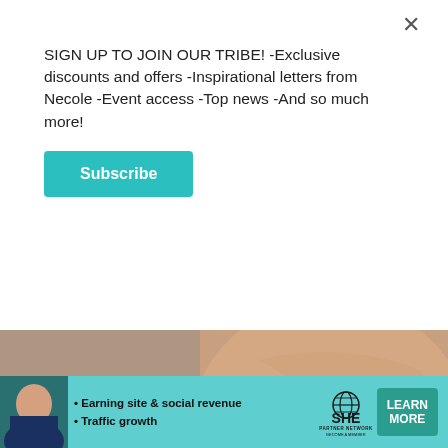SIGN UP TO JOIN OUR TRIBE! -Exclusive discounts and offers -Inspirational letters from Necole -Event access -Top news -And so much more!
Subscribe
[Figure (photo): Close-up photo of an elderly woman's face showing wrinkled skin, wearing a gold earring, with blurred background]
Virginia Seniors with No Life Insurance Get a $250k Policy for $18/month
Smart Lifestyle Trends
[Figure (infographic): SHE Partner Network banner ad with woman photo, bullet points about earning site & social revenue and traffic growth, SHE logo, and LEARN MORE button]